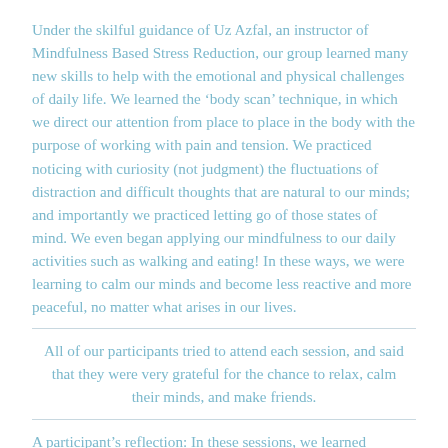Under the skilful guidance of Uz Azfal, an instructor of Mindfulness Based Stress Reduction, our group learned many new skills to help with the emotional and physical challenges of daily life. We learned the ‘body scan’ technique, in which we direct our attention from place to place in the body with the purpose of working with pain and tension. We practiced noticing with curiosity (not judgment) the fluctuations of distraction and difficult thoughts that are natural to our minds; and importantly we practiced letting go of those states of mind. We even began applying our mindfulness to our daily activities such as walking and eating! In these ways, we were learning to calm our minds and become less reactive and more peaceful, no matter what arises in our lives.
All of our participants tried to attend each session, and said that they were very grateful for the chance to relax, calm their minds, and make friends.
A partial line of text continues at the bottom...